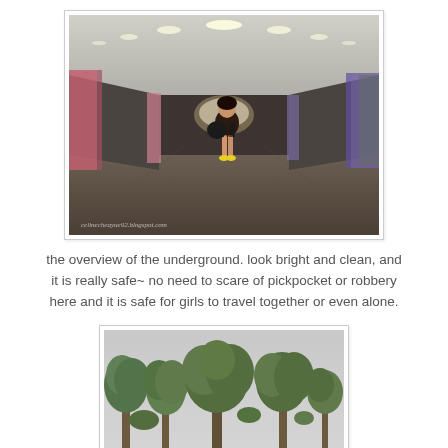[Figure (photo): A young woman standing in a long, brightly lit underground corridor/subway station with colorful pillars (pink and purple/green) and reflective walls. She is carrying a backpack and bag, wearing shorts. Watermark reads: celinecheayue92.blogspot.com]
the overview of the underground. look bright and clean, and it is really safe~ no need to scare of pickpocket or robbery here and it is safe for girls to travel together or even alone.
[Figure (photo): Tall trees with green foliage against a grey overcast sky, taken from below looking up.]